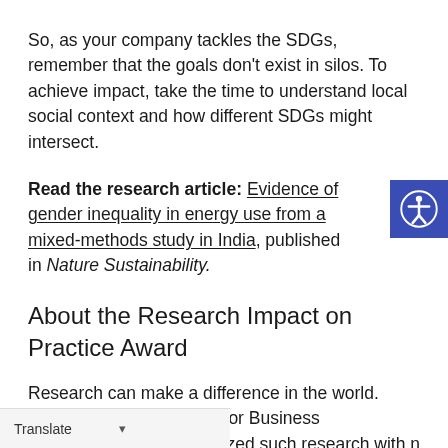So, as your company tackles the SDGs, remember that the goals don't exist in silos. To achieve impact, take the time to understand local social context and how different SDGs might intersect.
Read the research article: Evidence of gender inequality in energy use from a mixed-methods study in India, published in Nature Sustainability.
About the Research Impact on Practice Award
Research can make a difference in the world. Since 2013, the Network for Business Sustainability has recognized such research with n Impact on Practice Award, co- ademy of Management's
Translate